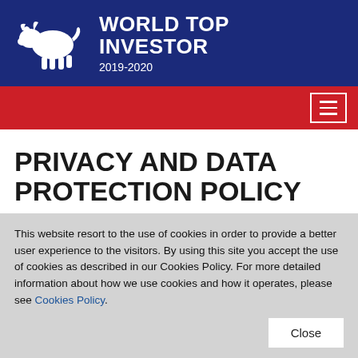[Figure (logo): World Top Investor 2019-2020 logo with bull silhouette and text on dark blue background]
Navigation menu bar (red) with hamburger menu icon
PRIVACY AND DATA PROTECTION POLICY
This website resort to the use of cookies in order to provide a better user experience to the visitors. By using this site you accept the use of cookies as described in our Cookies Policy. For more detailed information about how we use cookies and how it operates, please see Cookies Policy.